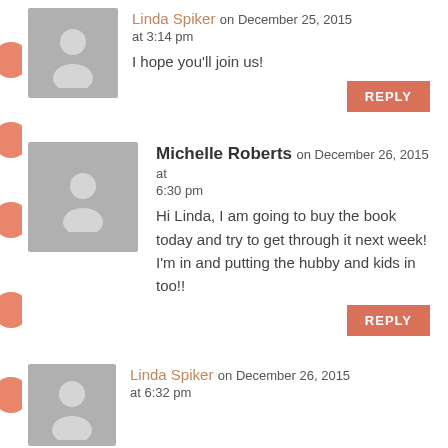[Figure (illustration): Gray avatar placeholder with person silhouette for Linda Spiker]
Linda Spiker on December 25, 2015 at 3:14 pm
I hope you’ll join us!
REPLY
[Figure (illustration): Gray avatar placeholder with person silhouette for Michelle Roberts]
Michelle Roberts on December 26, 2015 at 6:30 pm
Hi Linda, I am going to buy the book today and try to get through it next week! I’m in and putting the hubby and kids in too!!
REPLY
[Figure (illustration): Gray avatar placeholder with person silhouette for Linda Spiker (second comment)]
Linda Spiker on December 26, 2015 at 6:32 pm
Fantastic!...